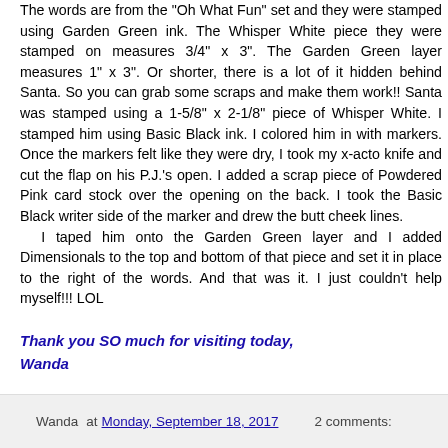The words are from the "Oh What Fun" set and they were stamped using Garden Green ink. The Whisper White piece they were stamped on measures 3/4" x 3". The Garden Green layer measures 1" x 3". Or shorter, there is a lot of it hidden behind Santa. So you can grab some scraps and make them work!! Santa was stamped using a 1-5/8" x 2-1/8" piece of Whisper White. I stamped him using Basic Black ink. I colored him in with markers. Once the markers felt like they were dry, I took my x-acto knife and cut the flap on his P.J.'s open. I added a scrap piece of Powdered Pink card stock over the opening on the back. I took the Basic Black writer side of the marker and drew the butt cheek lines. I taped him onto the Garden Green layer and I added Dimensionals to the top and bottom of that piece and set it in place to the right of the words. And that was it. I just couldn't help myself!!! LOL
Thank you SO much for visiting today,
Wanda
Wanda at Monday, September 18, 2017   2 comments: